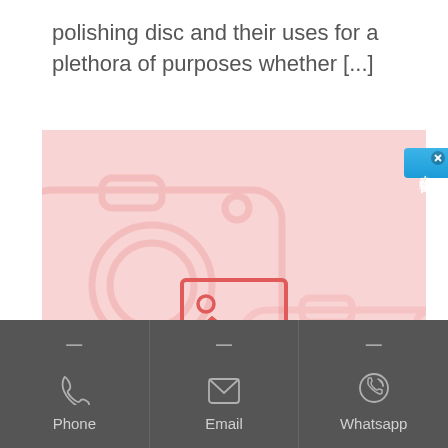polishing disc and their uses for a plethora of purposes whether [...]
[Figure (other): No image placeholder with pink background, camera icon watermark, and a red image icon with 'NO IMAGE' text in the center]
— Phone   — Email   — Whatsapp